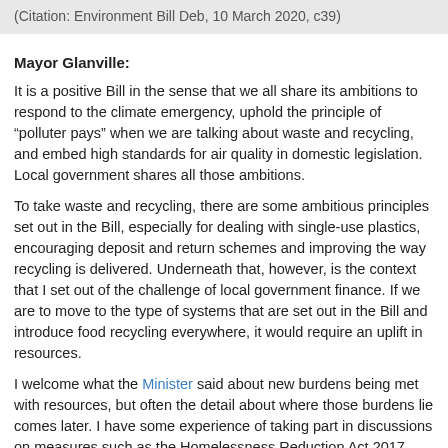(Citation: Environment Bill Deb, 10 March 2020, c39)
Mayor Glanville:
It is a positive Bill in the sense that we all share its ambitions to respond to the climate emergency, uphold the principle of “polluter pays” when we are talking about waste and recycling, and embed high standards for air quality in domestic legislation. Local government shares all those ambitions.
To take waste and recycling, there are some ambitious principles set out in the Bill, especially for dealing with single-use plastics, encouraging deposit and return schemes and improving the way recycling is delivered. Underneath that, however, is the context that I set out of the challenge of local government finance. If we are to move to the type of systems that are set out in the Bill and introduce food recycling everywhere, it would require an uplift in resources.
I welcome what the Minister said about new burdens being met with resources, but often the detail about where those burdens lie comes later. I have some experience of taking part in discussions on measures such as the Homelessness Reduction Act 2017. There is normally a dispute later between central and local government about what the n…